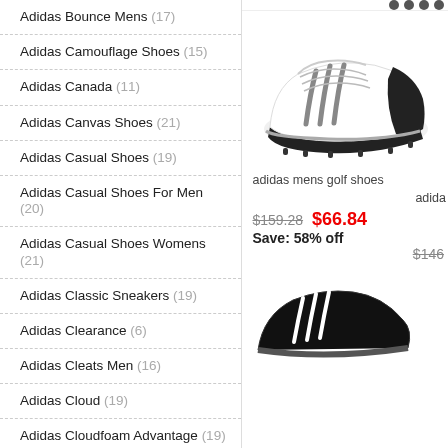Adidas Bounce Mens (17)
Adidas Camouflage Shoes (15)
Adidas Canada (11)
Adidas Canvas Shoes (21)
Adidas Casual Shoes (19)
Adidas Casual Shoes For Men (20)
Adidas Casual Shoes Womens (21)
Adidas Classic Sneakers (19)
Adidas Clearance (6)
Adidas Cleats Men (16)
Adidas Cloud (19)
Adidas Cloudfoam Advantage (19)
Adidas Cloudfoam Black (10)
Adidas Cloudfoam Men (18)
Adidas Cloudfoam Ortholite (12)
[Figure (photo): White Adidas mens golf shoe with black stripes and spikes]
adidas mens golf shoes
adida
$159.28  $66.84
Save: 58% off
$146
[Figure (photo): Black and white Adidas shoe partially visible at bottom right]